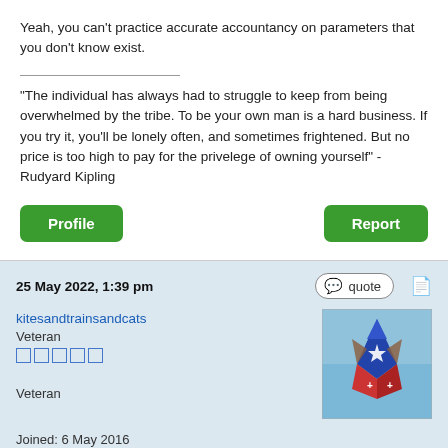Yeah, you can't practice accurate accountancy on parameters that you don't know exist.
"The individual has always had to struggle to keep from being overwhelmed by the tribe. To be your own man is a hard business. If you try it, you'll be lonely often, and sometimes frightened. But no price is too high to pay for the privelege of owning yourself" - Rudyard Kipling
Profile
Report
25 May 2022, 1:39 pm
quote
kitesandtrainsandcats
Veteran
Veteran
[Figure (photo): Avatar image of a rocket-shaped kite against a blue sky]
Joined: 6 May 2016
Age: 59